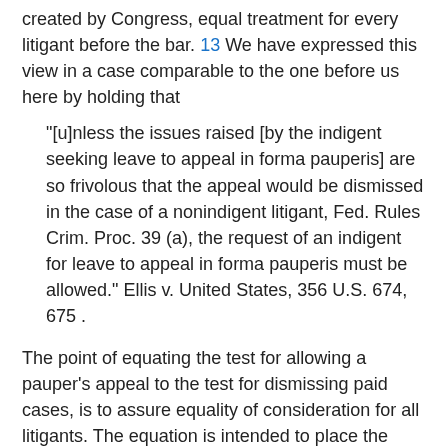created by Congress, equal treatment for every litigant before the bar. 13 We have expressed this view in a case comparable to the one before us here by holding that
"[u]nless the issues raised [by the indigent seeking leave to appeal in forma pauperis] are so frivolous that the appeal would be dismissed in the case of a nonindigent litigant, Fed. Rules Crim. Proc. 39 (a), the request of an indigent for leave to appeal in forma pauperis must be allowed." Ellis v. United States, 356 U.S. 674, 675 .
The point of equating the test for allowing a pauper's appeal to the test for dismissing paid cases, is to assure equality of consideration for all litigants. The equation is intended to place the burdens of proof and persuasion in all cases on the same party - in these cases, on the Government. Since our statutes and rules make an appeal in a criminal case a matter of right, the burden of showing that that right has been abused through the prosecution [369 U.S. 438, 448] of